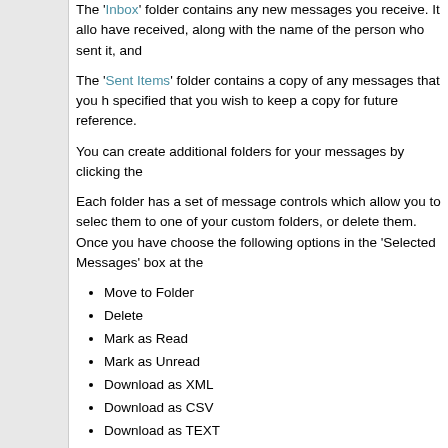The 'Inbox' folder contains any new messages you receive. It allows you to see a list of messages you have received, along with the name of the person who sent it, and
The 'Sent Items' folder contains a copy of any messages that you have sent, providing you have specified that you wish to keep a copy for future reference.
You can create additional folders for your messages by clicking the
Each folder has a set of message controls which allow you to select messages and either move them to one of your custom folders, or delete them. Once you have selected your messages, choose the following options in the 'Selected Messages' box at the
Move to Folder
Delete
Mark as Read
Mark as Unread
Download as XML
Download as CSV
Download as TEXT
You will need to periodically delete old messages, as the administrator may have set a limit on the number of private messages you can have in your folders. If you exceed this limit, you will not be able to send or receive new messages until you delete some old o
If you would like to keep a record of your messages before you delete them, you can use the 'Download as..' options listed above to take a copy and store them
Whenever you read a message, you will have the option to reply or quote the message, as you would in the forum. You may also have the ability to forward that message to another member of your contact list.